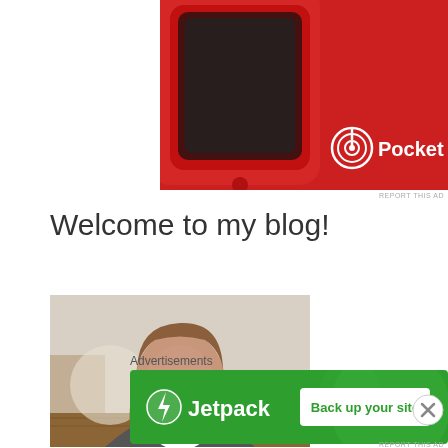[Figure (photo): Pocket Casts advertisement banner showing a red smartwatch device on a red background with Pocket Casts logo and text]
REPORT THIS AD
Welcome to my blog!
[Figure (photo): Portrait photo of a woman with long brown hair, smiling, wearing a gray blazer, in an indoor setting]
Advertisements
[Figure (screenshot): Jetpack advertisement banner on green background with Jetpack logo, text 'Jetpack', and a white button 'Back up your site']